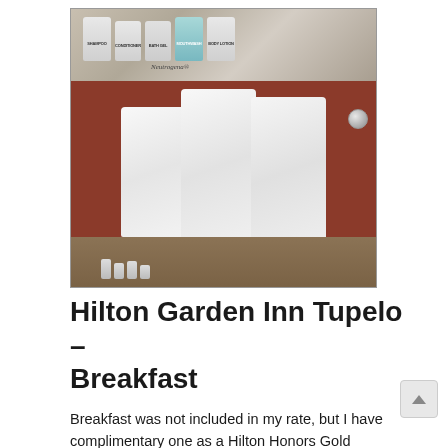[Figure (photo): Hotel bathroom photo showing white fluffy towels hanging on a towel bar against a red tiled wall, with Neutrogena toiletry bottles (shampoo, conditioner, bath gel, mouthwash, body lotion) on a granite shelf above, and small bottles on the counter below.]
Hilton Garden Inn Tupelo – Breakfast
Breakfast was not included in my rate, but I have complimentary one as a Hilton Honors Gold member. I had the full breakfast, continental and hot dishes. The hot dishes